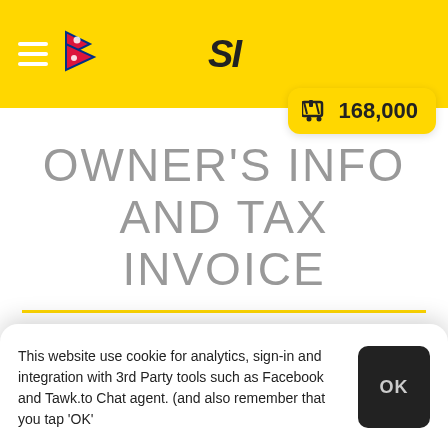SI — Owner's Info and Tax Invoice (header bar with hamburger, Nepal flag, SI logo)
168,000 (cart)
OWNER'S INFO AND TAX INVOICE
CONNECT WITH FACEBOOK
This website use cookie for analytics, sign-in and integration with 3rd Party tools such as Facebook and Tawk.to Chat agent. (and also remember that you tap 'OK'